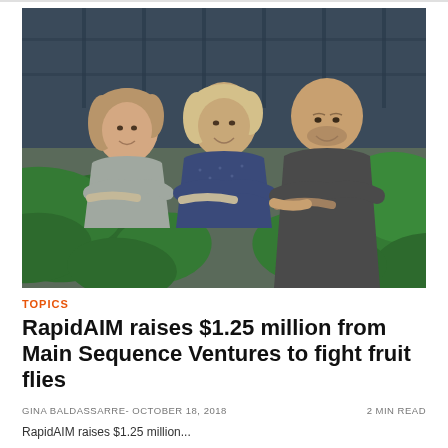[Figure (photo): Three people — two women and a man — smiling with arms crossed, standing in front of large tropical green plants and a glass building facade in the background.]
TOPICS
RapidAIM raises $1.25 million from Main Sequence Ventures to fight fruit flies
GINA BALDASSARRE- OCTOBER 18, 2018    2 MIN READ
RapidAIM raises $1.25 million...